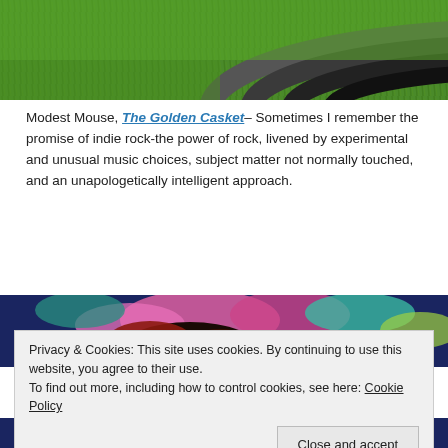[Figure (photo): Top portion of an image showing green grass and dark curved bands (grey to black) sweeping across the lower part of the image.]
Modest Mouse, The Golden Casket– Sometimes I remember the promise of indie rock-the power of rock, livened by experimental and unusual music choices, subject matter not normally touched, and an unapologetically intelligent approach.
[Figure (photo): Colorful illustration/painting showing a person with red and dark hair lying amid vibrant pink, teal, and yellow tropical foliage on a dark blue background.]
Privacy & Cookies: This site uses cookies. By continuing to use this website, you agree to their use.
To find out more, including how to control cookies, see here: Cookie Policy
Close and accept
[Figure (photo): Bottom partial image continuing the colorful tropical illustration.]